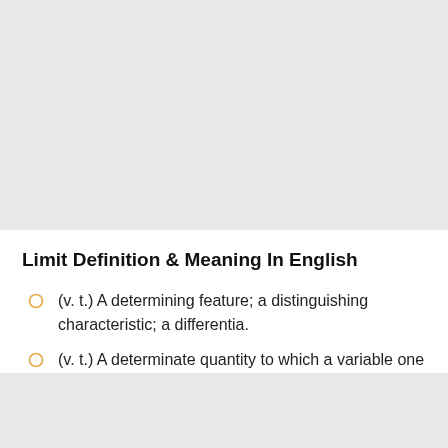Limit Definition & Meaning In English
(v. t.) A determining feature; a distinguishing characteristic; a differentia.
(v. t.) A determinate quantity to which a variable one...